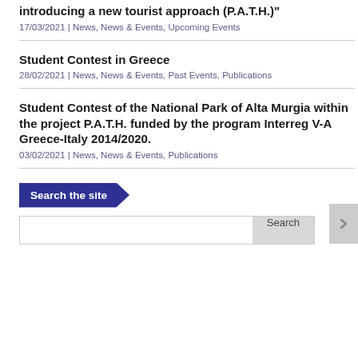introducing a new tourist approach (P.A.T.H.)"
17/03/2021 | News, News & Events, Upcoming Events
Student Contest in Greece
28/02/2021 | News, News & Events, Past Events, Publications
Student Contest of the National Park of Alta Murgia within the project P.A.T.H. funded by the program Interreg V-A Greece-Italy 2014/2020.
03/02/2021 | News, News & Events, Publications
Search the site
Search